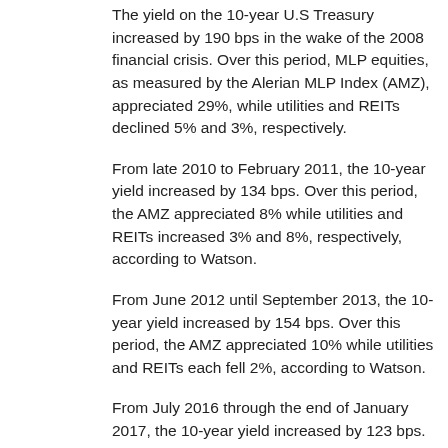The yield on the 10-year U.S Treasury increased by 190 bps in the wake of the 2008 financial crisis. Over this period, MLP equities, as measured by the Alerian MLP Index (AMZ), appreciated 29%, while utilities and REITs declined 5% and 3%, respectively.
From late 2010 to February 2011, the 10-year yield increased by 134 bps. Over this period, the AMZ appreciated 8% while utilities and REITs increased 3% and 8%, respectively, according to Watson.
From June 2012 until September 2013, the 10-year yield increased by 154 bps. Over this period, the AMZ appreciated 10% while utilities and REITs each fell 2%, according to Watson.
From July 2016 through the end of January 2017, the 10-year yield increased by 123 bps. Over this period, the AMZ declined 3% while utilities and REITs declined by 8% and 9%, respectively, according to Watson.
From September 2017 through October 2018, the 10-year